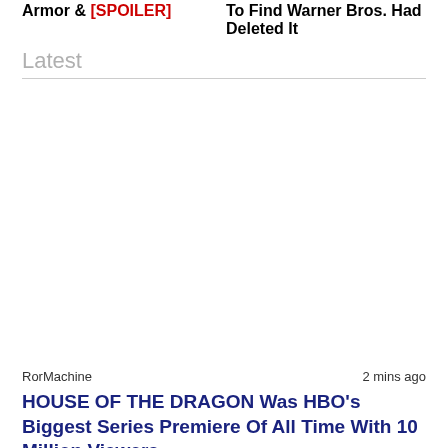Armor & [SPOILER]
To Find Warner Bros. Had Deleted It
Latest
RorMachine
2 mins ago
HOUSE OF THE DRAGON Was HBO's Biggest Series Premiere Of All Time With 10 Million Viewers